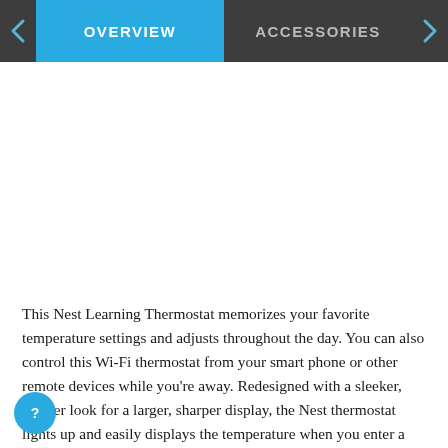OVERVIEW | ACCESSORIES
This Nest Learning Thermostat memorizes your favorite temperature settings and adjusts throughout the day. You can also control this Wi-Fi thermostat from your smart phone or other remote devices while you're away. Redesigned with a sleeker, thinner look for a larger, sharper display, the Nest thermostat lights up and easily displays the temperature when you enter a room. This ENERGY STAR-rated thermostat saves you on your energy bills: up to 12 percent on heating bills and 15 on cooling, paying for itself in fewer than two years.